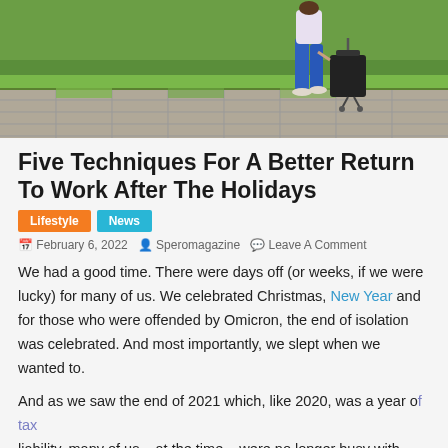[Figure (photo): Woman walking with rolling suitcase on paved outdoor path with green grass in background]
Five Techniques For A Better Return To Work After The Holidays
Lifestyle   News
February 6, 2022   Speromagazine   Leave A Comment
We had a good time. There were days off (or weeks, if we were lucky) for many of us. We celebrated Christmas, New Year and for those who were offended by Omicron, the end of isolation was celebrated. And most importantly, we slept when we wanted to.
And as we saw the end of 2021 which, like 2020, was a year of tax liability, many of us – at the time – were no longer busy with work